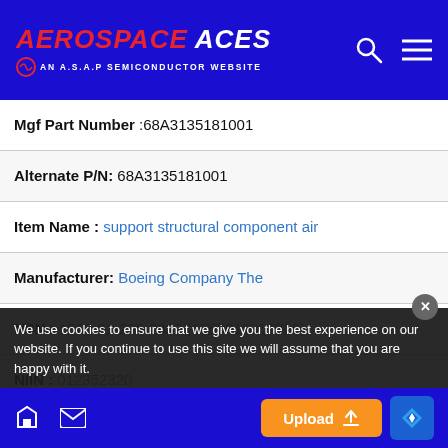AEROSPACE ACES — AN A.S.A.P SEMICONDUCTOR WEBSITE
| Field | Value |
| --- | --- |
| Mgf Part Number | 68A3135181001 |
| Alternate P/N | 68A3135181001 |
| Item Name | support structural component air |
| Manufacturer | Boeing Company The |
| NSN | 1560-01-235-2320 (1560012352320) |
| NIIN | 012352320 |
We use cookies to ensure that we give you the best experience on our website. If you continue to use this site we will assume that you are happy with it.
Upload